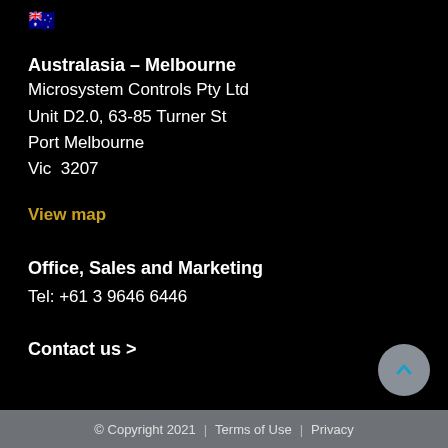[Figure (illustration): Australian flag emoji]
Australasia – Melbourne
Microsystem Controls Pty Ltd
Unit D2.0, 63-85 Turner St
Port Melbourne
Vic  3207
View map
Office, Sales and Marketing
Tel: +61 3 9646 6446
Contact us >
© Copyright 2021 |  Terms of Use  |  Privacy